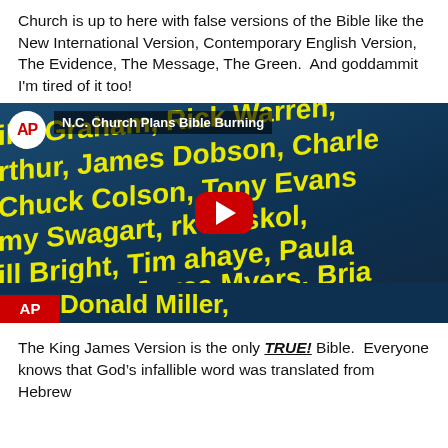Church is up to here with false versions of the Bible like the New International Version, Contemporary English Version, The Evidence, The Message, The Green.  And goddammit I'm tired of it too!
[Figure (screenshot): AP News video thumbnail showing 'N.C. Church Plans Bible Burning' with yellow text listing names including Billy Graham, Rick Warren, Charles Arthur, James Dobson, Chuck Colson, Tony Evans, Jimmy Swagart, Mark Driskol, Bill Bright, Tim Lahaye, Paula, Benny Hinn, Joyce Myers, Brian, chandler, Mother Teresa, Donald Miller on a dark blue background. YouTube play button in center. AP logos visible.]
The King James Version is the only TRUE! Bible.  Everyone knows that God's infallible word was translated from Hebrew